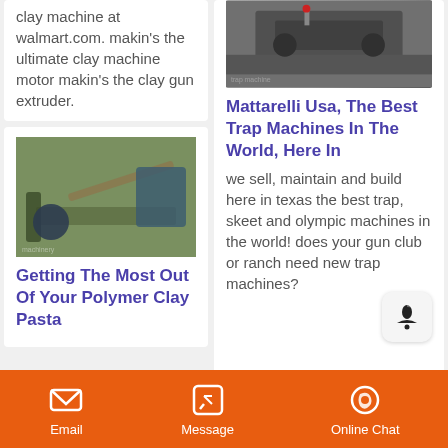clay machine at walmart.com. makin's the ultimate clay machine motor makin's the clay gun extruder.
[Figure (photo): Industrial machinery photo on left card - clay/pasta machine outdoors]
Getting The Most Out Of Your Polymer Clay Pasta
[Figure (photo): Industrial trap machine photo on right card]
Mattarelli Usa, The Best Trap Machines In The World, Here In
we sell, maintain and build here in texas the best trap, skeet and olympic machines in the world! does your gun club or ranch need new trap machines?
Email   Message   Online Chat